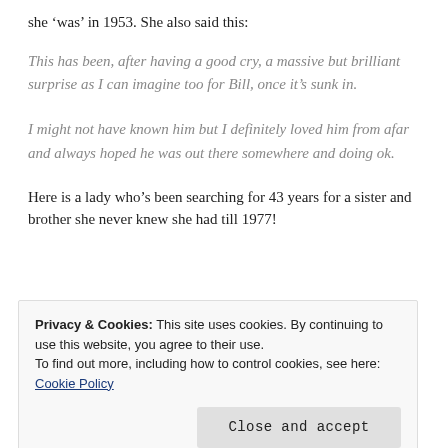she ‘was’ in 1953. She also said this:
This has been, after having a good cry, a massive but brilliant surprise as I can imagine too for Bill, once it’s sunk in.
I might not have known him but I definitely loved him from afar and always hoped he was out there somewhere and doing ok.
Here is a lady who’s been searching for 43 years for a sister and brother she never knew she had till 1977!
Privacy & Cookies: This site uses cookies. By continuing to use this website, you agree to their use. To find out more, including how to control cookies, see here: Cookie Policy
Close and accept